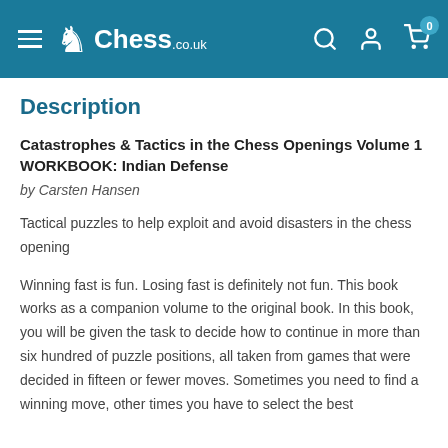Chess.co.uk
Description
Catastrophes & Tactics in the Chess Openings Volume 1 WORKBOOK: Indian Defense
by Carsten Hansen
Tactical puzzles to help exploit and avoid disasters in the chess opening
Winning fast is fun. Losing fast is definitely not fun. This book works as a companion volume to the original book. In this book, you will be given the task to decide how to continue in more than six hundred of puzzle positions, all taken from games that were decided in fifteen or fewer moves. Sometimes you need to find a winning move, other times you have to select the best